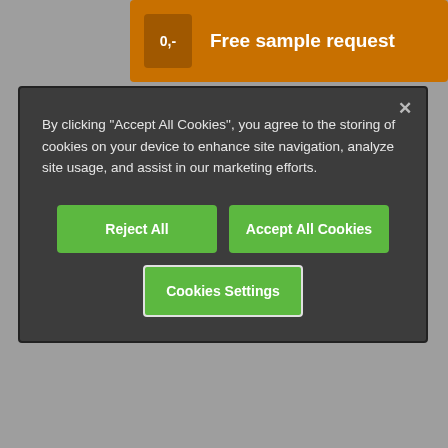[Figure (screenshot): Orange free sample request banner at top of page, partially visible behind modal]
By clicking “Accept All Cookies”, you agree to the storing of cookies on your device to enhance site navigation, analyze site usage, and assist in our marketing efforts.
[Figure (screenshot): Reject All button - green rectangular button]
[Figure (screenshot): Accept All Cookies button - green rectangular button]
[Figure (screenshot): Cookies Settings button - green rectangular button with white outline]
igubal® sample box
Order free of charge
[Figure (screenshot): Chat Now button with orange text and chat icon at bottom of page]